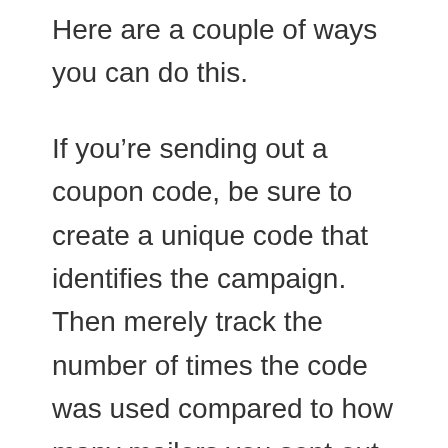Here are a couple of ways you can do this.
If you’re sending out a coupon code, be sure to create a unique code that identifies the campaign. Then merely track the number of times the code was used compared to how many mailers you sent out.
With an introduction mailer, you can create a spreadsheet of dream clients